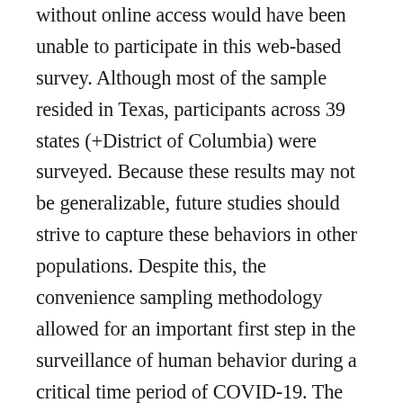without online access would have been unable to participate in this web-based survey. Although most of the sample resided in Texas, participants across 39 states (+District of Columbia) were surveyed. Because these results may not be generalizable, future studies should strive to capture these behaviors in other populations. Despite this, the convenience sampling methodology allowed for an important first step in the surveillance of human behavior during a critical time period of COVID-19. The reliance of self-report for this survey might have been subject to social desirability bias; making the survey anonymous attempted to mitigate bias. In addition, there may be other sociodemographic exposures that influence protective health behaviors and reasons for leaving home (Plohl et al., in press). Additionally, individuals may have had